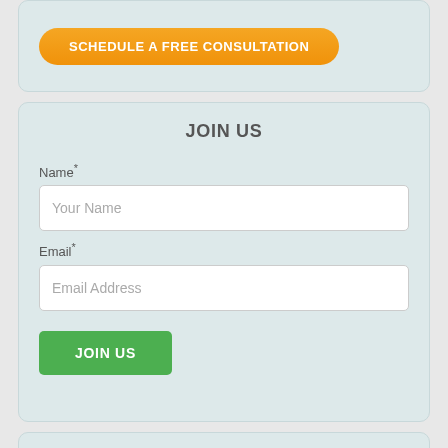[Figure (screenshot): Orange rounded button labeled SCHEDULE A FREE CONSULTATION on a light teal card background]
JOIN US
Name*
Your Name
Email*
Email Address
JOIN US
SEARCH THE BLOG